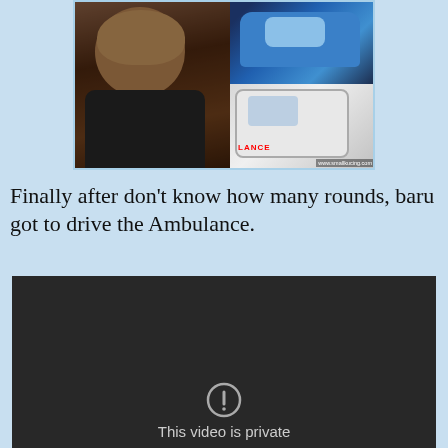[Figure (photo): A photo collage showing a young Asian boy in three images: left large image shows the boy with a serious expression holding something; top-right shows a child driving a blue toy car; bottom-right shows the same boy sitting in a toy ambulance vehicle. URL watermark: www.smallkucing.com]
Finally after don't know how many rounds, baru got to drive the Ambulance.
[Figure (screenshot): A dark/black video player screenshot showing a private video notice with a warning icon circle and text 'This video is private']